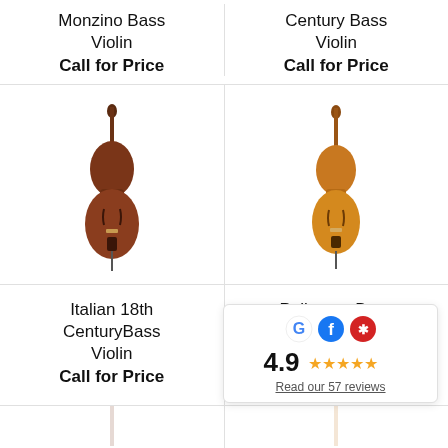Monzino Bass Violin
Call for Price
Century Bass Violin
Call for Price
[Figure (photo): Italian 18th Century Bass Violin - dark reddish-brown double bass on watermarked background]
Italian 18th CenturyBass Violin
Call for Price
[Figure (photo): Pollmann Bass - amber/honey colored double bass on watermarked background]
Pollmann Bass
Call for Price
4.9
Read our 57 reviews